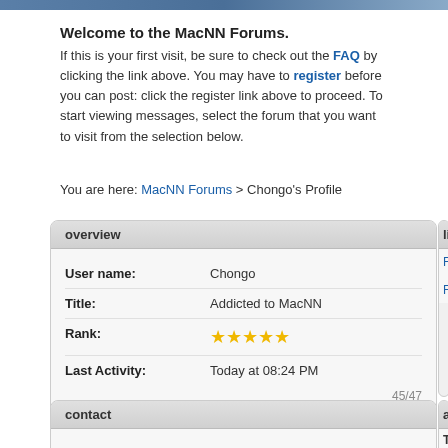Welcome to the MacNN Forums.
If this is your first visit, be sure to check out the FAQ by clicking the link above. You may have to register before you can post: click the register link above to proceed. To start viewing messages, select the forum that you want to visit from the selection below.
You are here: MacNN Forums > Chongo's Profile
| overview |
| --- |
| User name: | Chongo |
| Title: | Addicted to MacNN |
| Rank: | ★★★★★ |
| Last Activity: | Today at 08:24 PM |
|  | 45/47 |
| contact |
| --- |
| Chongo has no contact information. |